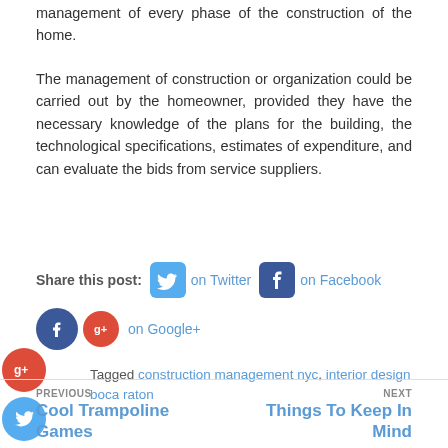management of every phase of the construction of the home.
The management of construction or organization could be carried out by the homeowner, provided they have the necessary knowledge of the plans for the building, the technological specifications, estimates of expenditure, and can evaluate the bids from service suppliers.
Share this post:  on Twitter  on Facebook  on Google+
Tagged construction management nyc, interior design boca raton
PREVIOUS
Cool Trampoline Games
NEXT
Things To Keep In Mind